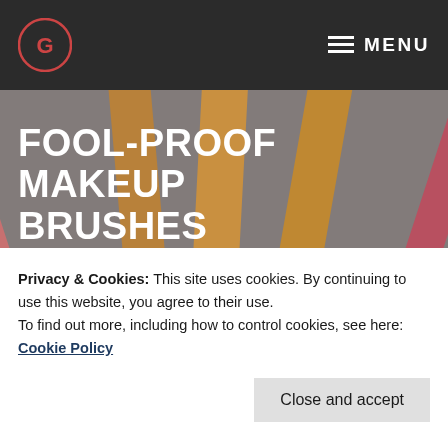MENU
[Figure (photo): Close-up photo of several makeup brushes with wooden/bamboo handles fanned out on a grey fabric background]
FOOL-PROOF MAKEUP BRUSHES
Privacy & Cookies: This site uses cookies. By continuing to use this website, you agree to their use.
To find out more, including how to control cookies, see here: Cookie Policy
Close and accept